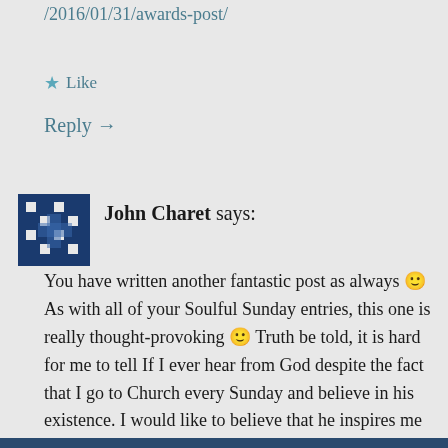/2016/01/31/awards-post/
★ Like
Reply →
John Charet says:
You have written another fantastic post as always 🙂 As with all of your Soulful Sunday entries, this one is really thought-provoking 🙂 Truth be told, it is hard for me to tell If I ever hear from God despite the fact that I go to Church every Sunday and believe in his existence. I would like to believe that he inspires me whenever I